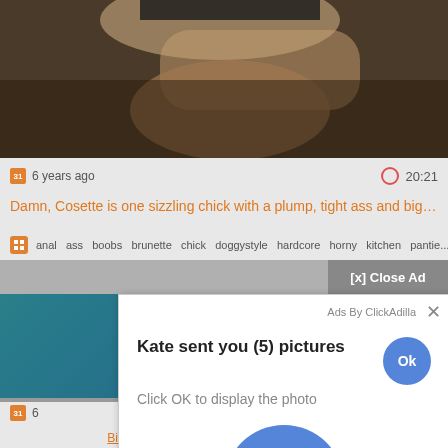[Figure (screenshot): Video thumbnail showing partial body close-up, dark background]
6 years ago   20:21
Damn, Cosette is one sizzling chick with a plump, tight ass and big bo...
anal  ass  boobs  brunette  chick  doggystyle  hardcore  horny  kitchen  pantie...
[Figure (screenshot): Popup ad overlay: Kate sent you (5) pictures. Click OK to display the photo. Large Ok button shown. Ads By ClickAdilla. [x] Close Ad button.]
6
Big Ass Malin - Interracial born Jmme video